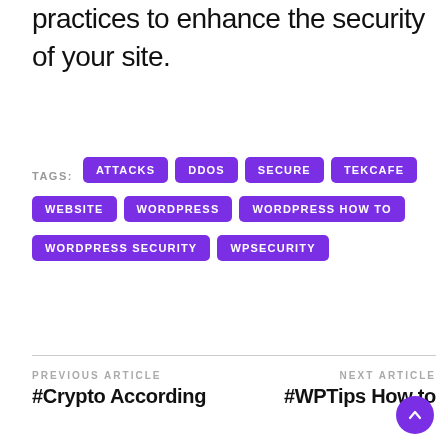practices to enhance the security of your site.
TAGS: ATTACKS  DDOS  SECURE  TEKCAFE  WEBSITE  WORDPRESS  WORDPRESS HOW TO  WORDPRESS SECURITY  WPSECURITY
PREVIOUS ARTICLE
#Crypto According
NEXT ARTICLE
#WPTips How to